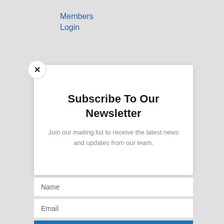Members Login
Subscribe To Our Newsletter
Join our mailing list to receive the latest news and updates from our team.
Name
Email
SUBSCRIBE